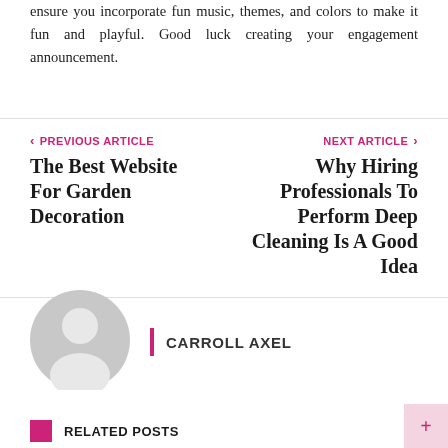ensure you incorporate fun music, themes, and colors to make it fun and playful. Good luck creating your engagement announcement.
PREVIOUS ARTICLE
The Best Website For Garden Decoration
NEXT ARTICLE
Why Hiring Professionals To Perform Deep Cleaning Is A Good Idea
[Figure (illustration): Generic user avatar: gray circle with a white silhouette of a person head and shoulders]
CARROLL AXEL
RELATED POSTS